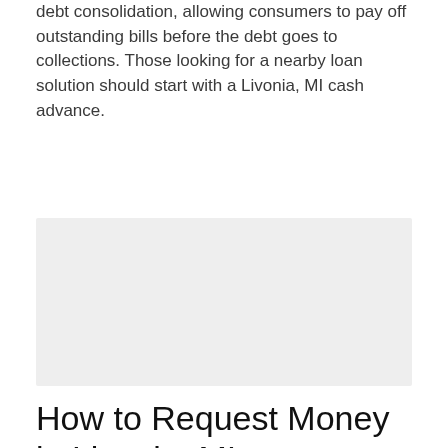debt consolidation, allowing consumers to pay off outstanding bills before the debt goes to collections. Those looking for a nearby loan solution should start with a Livonia, MI cash advance.
[Figure (other): A light gray rectangular placeholder image area]
How to Request Money in Livonia, MI